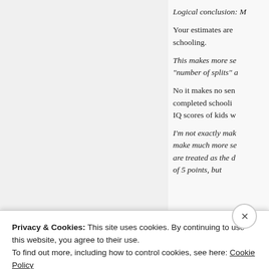Logical conclusion: M
Your estimates are schooling.
This makes more se "number of splits" a
No it makes no sen completed schooli IQ scores of kids w
I'm not exactly mak make much more se are treated as the d of 5 points, but
Privacy & Cookies: This site uses cookies. By continuing to use this website, you agree to their use.
To find out more, including how to control cookies, see here: Cookie Policy
Close and accept